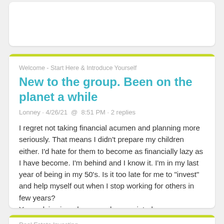Welcome - Start Here & Introduce Yourself
New to the group. Been on the planet a while
Lonney · 4/26/21 @ 8:51 PM · 2 replies
I regret not taking financial acumen and planning more seriously. That means I didn't prepare my children either. I'd hate for them to become as financially lazy as I have become. I'm behind and I know it. I'm in my last year of being in my 50's. Is it too late for me to "invest" and help myself out when I stop working for others in few years? Your advice is welcome and appreciated